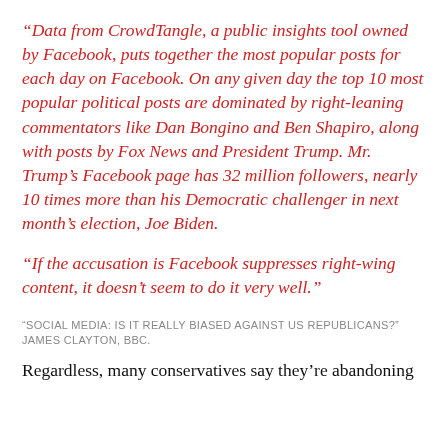“Data from CrowdTangle, a public insights tool owned by Facebook, puts together the most popular posts for each day on Facebook. On any given day the top 10 most popular political posts are dominated by right-leaning commentators like Dan Bongino and Ben Shapiro, along with posts by Fox News and President Trump. Mr. Trump’s Facebook page has 32 million followers, nearly 10 times more than his Democratic challenger in next month’s election, Joe Biden.
“If the accusation is Facebook suppresses right-wing content, it doesn’t seem to do it very well.”
“SOCIAL MEDIA: IS IT REALLY BIASED AGAINST US REPUBLICANS?” JAMES CLAYTON, BBC.
Regardless, many conservatives say they’re abandoning